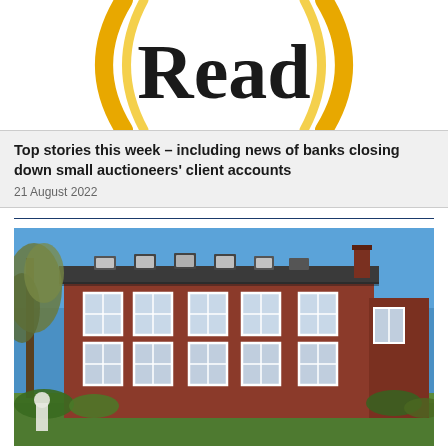[Figure (logo): Circular badge/award logo with gold arcs and large bold serif text reading 'Read' in black on white background]
Top stories this week – including news of banks closing down small auctioneers' client accounts
21 August 2022
[Figure (photo): Exterior photograph of a large three-storey red brick Georgian-style building with white sash windows, a slate roof with dormer windows, surrounded by trees and a green lawn on a sunny day with a blue sky]